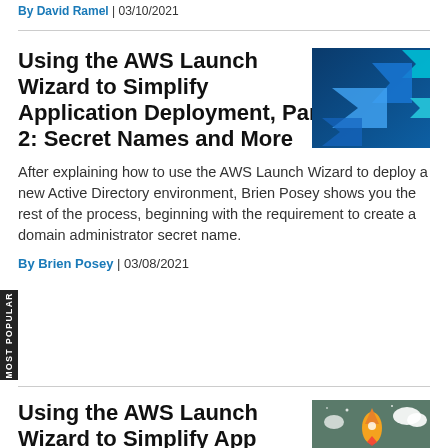By David Ramel | 03/10/2021
Using the AWS Launch Wizard to Simplify Application Deployment, Part 2: Secret Names and More
[Figure (illustration): Abstract blue arrows pointing upward on dark blue background]
After explaining how to use the AWS Launch Wizard to deploy a new Active Directory environment, Brien Posey shows you the rest of the process, beginning with the requirement to create a domain administrator secret name.
By Brien Posey | 03/08/2021
Using the AWS Launch Wizard to Simplify App